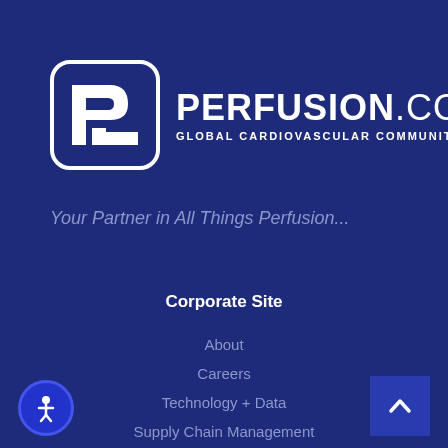[Figure (logo): Perfusion.com logo with square icon showing stylized P and L letters in white on dark navy background, with text PERFUSION.COM and subtitle GLOBAL CARDIOVASCULAR COMMUNITY]
Your Partner in All Things Perfusion...
Corporate Site
About
Careers
Technology + Data
Supply Chain Management
Staffing Services